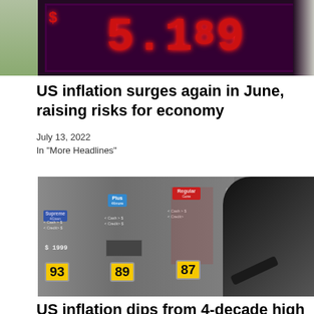[Figure (photo): LED gas price sign showing $5.189 on a purple/dark background with trees visible on left]
US inflation surges again in June, raising risks for economy
July 13, 2022
In "More Headlines"
[Figure (photo): Gas station pump with grade buttons showing Supreme, Plus, and Regular grades with octane ratings 93, 89, and 87. Prices visible including $1.999. A hand is reaching toward the pump nozzle.]
US inflation dips from 4-decade high but